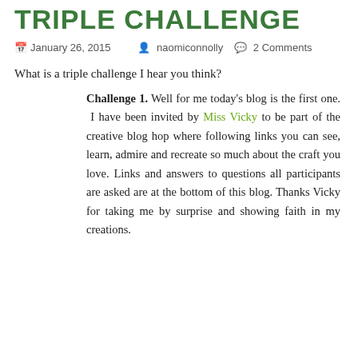TRIPLE CHALLENGE
January 26, 2015   naomiconnolly   2 Comments
What is a triple challenge I hear you think?
Challenge 1. Well for me today’s blog is the first one. I have been invited by Miss Vicky to be part of the creative blog hop where following links you can see, learn, admire and recreate so much about the craft you love. Links and answers to questions all participants are asked are at the bottom of this blog. Thanks Vicky for taking me by surprise and showing faith in my creations.